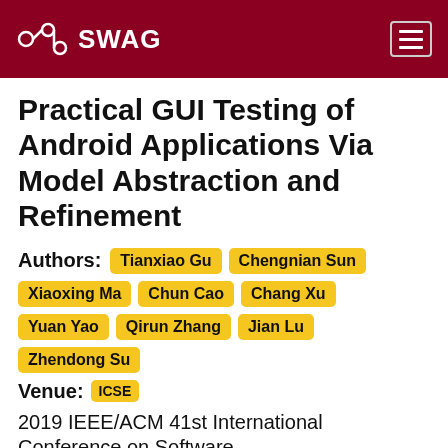SWAG
Practical GUI Testing of Android Applications Via Model Abstraction and Refinement
Authors: Tianxiao Gu  Chengnian Sun  Xiaoxing Ma  Chun Cao  Chang Xu  Yuan Yao  Qirun Zhang  Jian Lu  Zhendong Su
Venue: ICSE  2019 IEEE/ACM 41st International Conference on Software